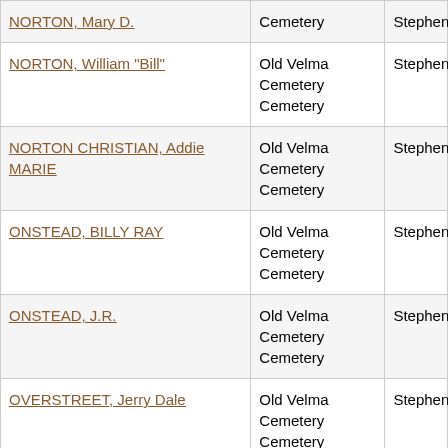| NORTON, Mary D. | Old Velma Cemetery Cemetery | Stephens |
| NORTON, William "Bill" | Old Velma Cemetery Cemetery | Stephens |
| NORTON CHRISTIAN, Addie MARIE | Old Velma Cemetery Cemetery | Stephens |
| ONSTEAD, BILLY RAY | Old Velma Cemetery Cemetery | Stephens |
| ONSTEAD, J.R. | Old Velma Cemetery Cemetery | Stephens |
| OVERSTREET, Jerry Dale | Old Velma Cemetery Cemetery | Stephens |
| OXFORD, Jimmy Lee | Old Velma Cemetery Cemetery | Stephens |
| PARKS, Donna Berniece | Old Velma Cemetery Cemetery | Stephens |
| PARKS, Gertie | Old Velma Cemetery Cemetery | Stephens |
| (partial) | Old Velma Cemetery |  |